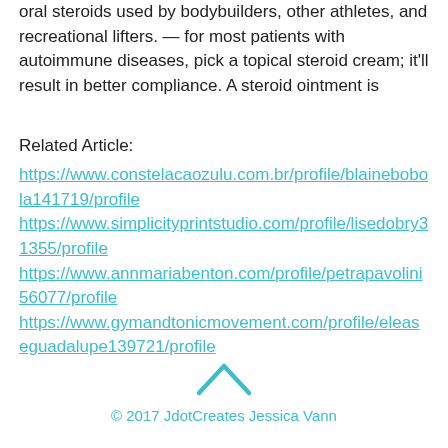oral steroids used by bodybuilders, other athletes, and recreational lifters. — for most patients with autoimmune diseases, pick a topical steroid cream; it'll result in better compliance. A steroid ointment is
Related Article:
https://www.constelacaozulu.com.br/profile/blainebobola141719/profile https://www.simplicityprintstudio.com/profile/lisedobry31355/profile https://www.annmariabenton.com/profile/petrapavolini56077/profile https://www.gymandtonicmovement.com/profile/eleaseguadalupe139721/profile
[Figure (other): Up arrow chevron icon in teal/cyan color]
© 2017 JdotCreates Jessica Vann